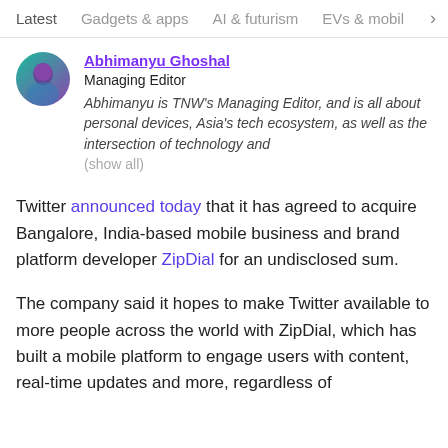Latest   Gadgets & apps   AI & futurism   EVs & mobil  >
Abhimanyu Ghoshal
Managing Editor
Abhimanyu is TNW's Managing Editor, and is all about personal devices, Asia's tech ecosystem, as well as the intersection of technology and
(show all)
Twitter announced today that it has agreed to acquire Bangalore, India-based mobile business and brand platform developer ZipDial for an undisclosed sum.
The company said it hopes to make Twitter available to more people across the world with ZipDial, which has built a mobile platform to engage users with content, real-time updates and more, regardless of